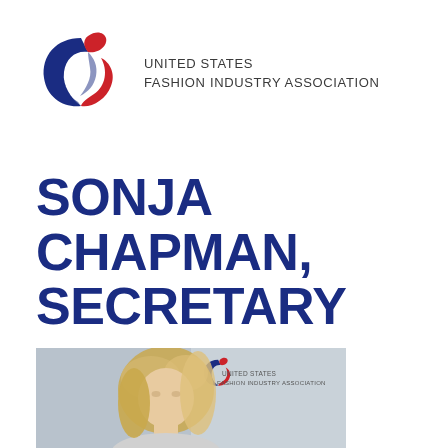[Figure (logo): United States Fashion Industry Association circular logo with blue, red, and dark blue swoosh elements]
UNITED STATES
FASHION INDUSTRY ASSOCIATION
SONJA CHAPMAN, SECRETARY
[Figure (photo): Photo of Sonja Chapman in front of a United States Fashion Industry Association backdrop, showing a blonde woman from shoulders up]